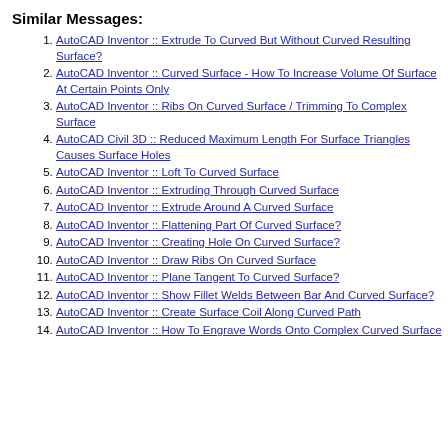Similar Messages:
AutoCAD Inventor :: Extrude To Curved But Without Curved Resulting Surface?
AutoCAD Inventor :: Curved Surface - How To Increase Volume Of Surface At Certain Points Only
AutoCAD Inventor :: Ribs On Curved Surface / Trimming To Complex Surface
AutoCAD Civil 3D :: Reduced Maximum Length For Surface Triangles Causes Surface Holes
AutoCAD Inventor :: Loft To Curved Surface
AutoCAD Inventor :: Extruding Through Curved Surface
AutoCAD Inventor :: Extrude Around A Curved Surface
AutoCAD Inventor :: Flattening Part Of Curved Surface?
AutoCAD Inventor :: Creating Hole On Curved Surface?
AutoCAD Inventor :: Draw Ribs On Curved Surface
AutoCAD Inventor :: Plane Tangent To Curved Surface?
AutoCAD Inventor :: Show Fillet Welds Between Bar And Curved Surface?
AutoCAD Inventor :: Create Surface Coil Along Curved Path
AutoCAD Inventor :: How To Engrave Words Onto Complex Curved Surface